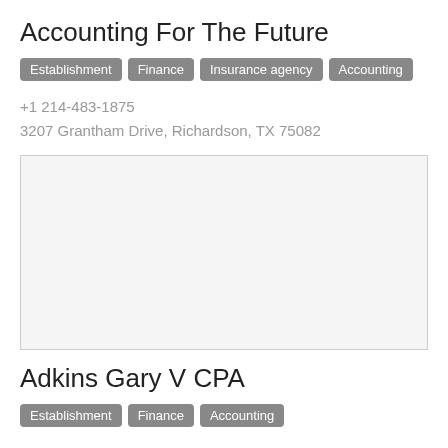Accounting For The Future
Establishment | Finance | Insurance agency | Accounting
+1 214-483-1875
3207 Grantham Drive, Richardson, TX 75082
[Figure (map): Map placeholder showing location of Accounting For The Future at 3207 Grantham Drive, Richardson, TX 75082]
Adkins Gary V CPA
Establishment | Finance | Accounting
+1 972-238-0762